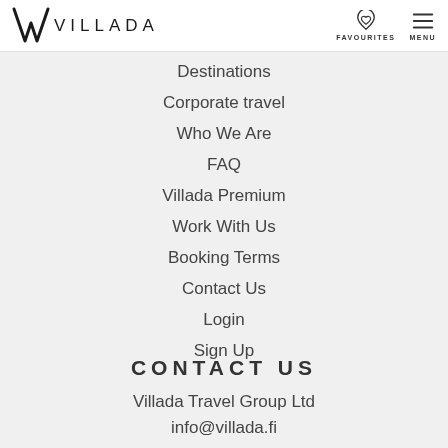VILLADA | FAVOURITES | MENU
Destinations
Corporate travel
Who We Are
FAQ
Villada Premium
Work With Us
Booking Terms
Contact Us
Login
Sign Up
CONTACT US
Villada Travel Group Ltd
info@villada.fi